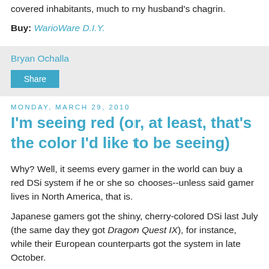covered inhabitants, much to my husband's chagrin.
Buy: WarioWare D.I.Y.
Bryan Ochalla
Share
Monday, March 29, 2010
I'm seeing red (or, at least, that's the color I'd like to be seeing)
Why? Well, it seems every gamer in the world can buy a red DSi system if he or she so chooses--unless said gamer lives in North America, that is.
Japanese gamers got the shiny, cherry-colored DSi last July (the same day they got Dragon Quest IX), for instance, while their European counterparts got the system in late October.